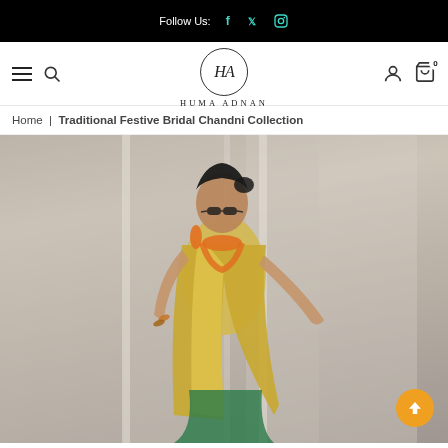Follow Us: [Facebook] [Twitter] [Instagram]
[Figure (logo): Huma Adnan brand logo with HA monogram in circle, navigation bar with hamburger menu, search, account and cart icons]
Home | Traditional Festive Bridal Chandni Collection
[Figure (photo): A model wearing a yellow/gold traditional bridal saree with orange jewelry and necklace, photographed against a grey architectural background]